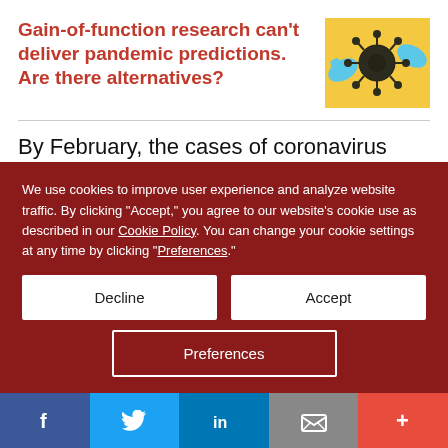Gain-of-function research can't deliver pandemic predictions. Are there alternatives?
[Figure (illustration): Illustration of a coronavirus particle being manipulated with blue gloves on a yellow background]
By February, the cases of coronavirus became extremely difficult to conceal. Iran's interior minister, Abdolreza Rahmani Fazli, had to admit
We use cookies to improve user experience and analyze website traffic. By clicking “Accept,” you agree to our website’s cookie use as described in our Cookie Policy. You can change your cookie settings at any time by clicking “Preferences.”
Decline
Accept
Preferences